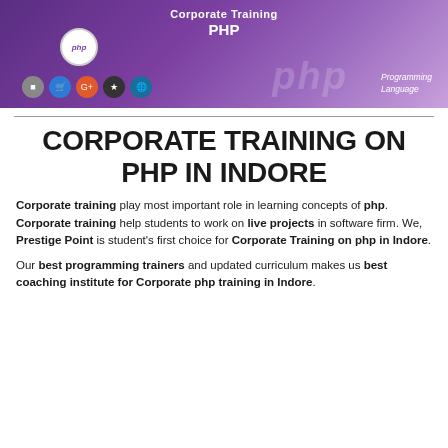[Figure (illustration): Purple gradient banner with PHP corporate training branding, PHP logo circle, technology icons row, and 'Programming Language' text on right]
CORPORATE TRAINING ON PHP IN INDORE
Corporate training play most important role in learning concepts of php. Corporate training help students to work on live projects in software firm. We, Prestige Point is student's first choice for Corporate Training on php in Indore.
Our best programming trainers and updated curriculum makes us best coaching institute for Corporate php training in Indore.